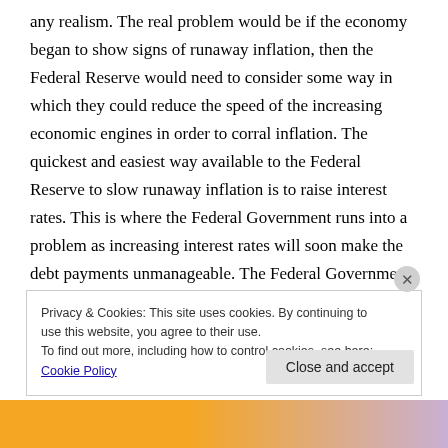any realism. The real problem would be if the economy began to show signs of runaway inflation, then the Federal Reserve would need to consider some way in which they could reduce the speed of the increasing economic engines in order to corral inflation. The quickest and easiest way available to the Federal Reserve to slow runaway inflation is to raise interest rates. This is where the Federal Government runs into a problem as increasing interest rates will soon make the debt payments unmanageable. The Federal Government could influence the Federal Reserve to keep interest rates at the lower rates but only if they are willing
Privacy & Cookies: This site uses cookies. By continuing to use this website, you agree to their use.
To find out more, including how to control cookies, see here: Cookie Policy
Close and accept